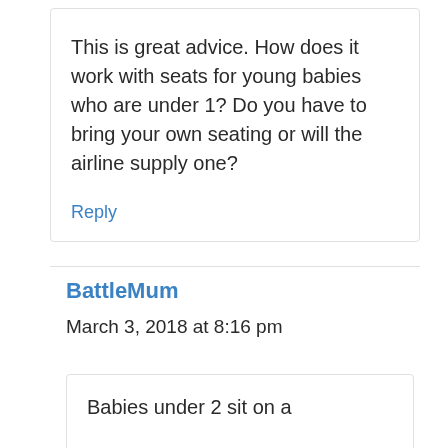This is great advice. How does it work with seats for young babies who are under 1? Do you have to bring your own seating or will the airline supply one?
Reply
BattleMum
March 3, 2018 at 8:16 pm
Babies under 2 sit on a